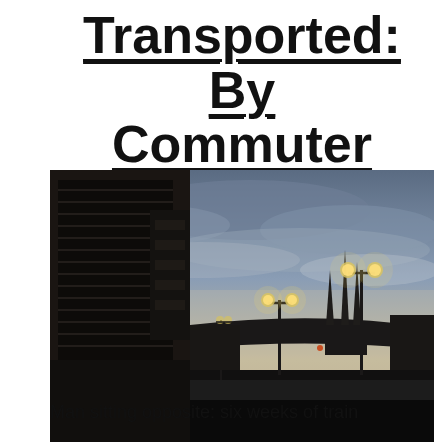Transported: By Commuter Tales
[Figure (photo): Dusk photograph of a train station exterior. Dark silhouettes of a building with louvred facade on the left, street lamps in the centre and right, gothic church spires in the background right, and a curved station canopy roof. Overcast sky with pale blue and grey tones.]
Man sitting opposite: six weeks of train